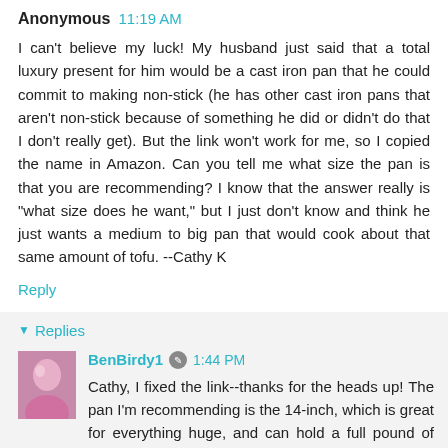Anonymous 11:19 AM
I can't believe my luck! My husband just said that a total luxury present for him would be a cast iron pan that he could commit to making non-stick (he has other cast iron pans that aren't non-stick because of something he did or didn't do that I don't really get). But the link won't work for me, so I copied the name in Amazon. Can you tell me what size the pan is that you are recommending? I know that the answer really is "what size does he want," but I just don't know and think he just wants a medium to big pan that would cook about that same amount of tofu. --Cathy K
Reply
Replies
BenBirdy1 1:44 PM
Cathy, I fixed the link--thanks for the heads up! The pan I'm recommending is the 14-inch, which is great for everything huge, and can hold a full pound of tofu. The 12-inch might be a more versatile size, though.